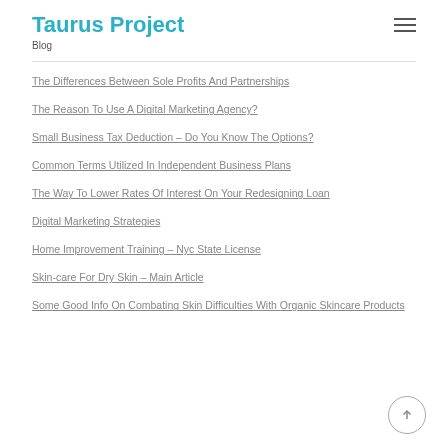Taurus Project
Blog
The Differences Between Sole Profits And Partnerships
The Reason To Use A Digital Marketing Agency?
Small Business Tax Deduction – Do You Know The Options?
Common Terms Utilized In Independent Business Plans
The Way To Lower Rates Of Interest On Your Redesigning Loan
Digital Marketing Strategies
Home Improvement Training – Nyc State License
Skin-care For Dry Skin – Main Article
Some Good Info On Combating Skin Difficulties With Organic Skincare Products